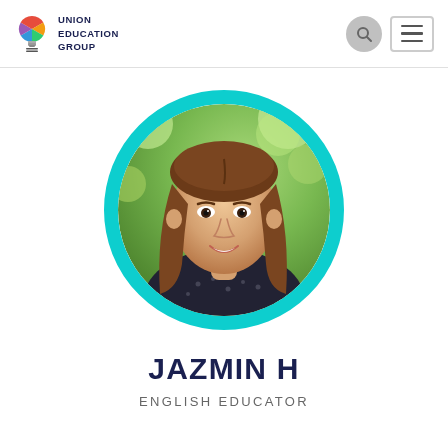Union Education Group
[Figure (photo): Circular profile photo of Jazmin H, a young woman with long brown hair, smiling, wearing a dark spotted top, with a green outdoor background. The photo is framed with a thick teal/cyan circular border.]
JAZMIN H
ENGLISH EDUCATOR